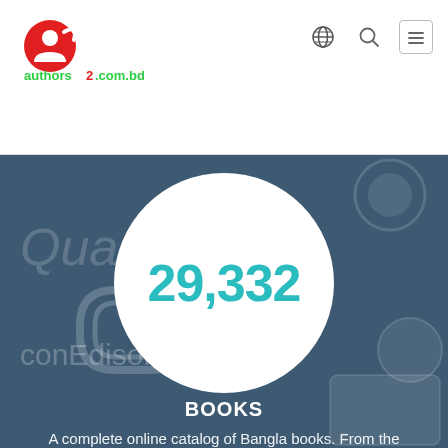[Figure (logo): authors2.com.bd logo — red circular icon with person silhouette and green/red text]
[Figure (infographic): Circular white badge showing the number 29,332 in teal, on a dark blue-gray background with faded book/app imagery. Below the circle: BOOKS label and descriptive text about Bangla books catalog.]